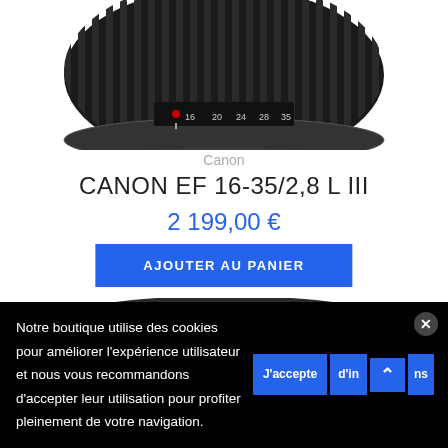[Figure (photo): Top portion of a Canon EF 16-35mm camera lens, showing the barrel with focal length markings (16, 20, 24, 28, 35), viewed from slightly above. Black lens with textured focusing ring.]
Canon
CANON EF 16-35/2,8 L III
2 199,00 €
AJOUTER AU PANIER
[Figure (photo): Front view of a Canon camera lens (fisheye/ultra-wide), showing the front element glass and outer barrel with red ring detail, viewed from slightly above.]
Notre boutique utilise des cookies pour améliorer l'expérience utilisateur et nous vous recommandons d'accepter leur utilisation pour profiter pleinement de votre navigation.